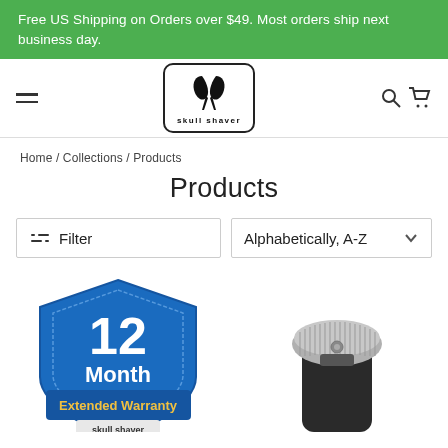Free US Shipping on Orders over $49. Most orders ship next business day.
[Figure (logo): Skull Shaver logo: black stylized skull/shaver icon inside a rounded rectangle border, with text 'skull shaver' below the icon]
Home / Collections / Products
Products
Filter
Alphabetically, A-Z
[Figure (photo): Blue shield badge showing '12 Month Extended Warranty' with Skull Shaver branding at the bottom]
[Figure (photo): Silver and black electric head shaver product photo]